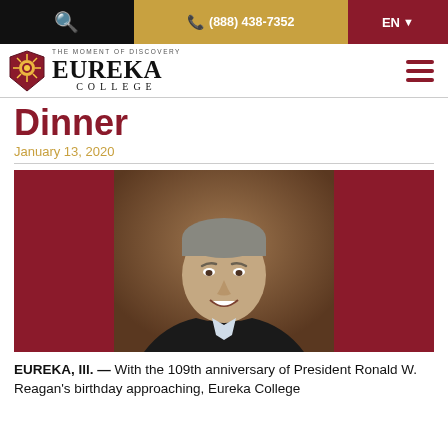🔍  📞 (888) 438-7352  EN ▾
[Figure (logo): Eureka College logo with shield emblem and text 'THE MOMENT OF DISCOVERY / EUREKA / COLLEGE']
Dinner
January 13, 2020
[Figure (photo): Professional headshot of a middle-aged man with gray hair, wearing a dark blazer and light blue collared shirt, smiling, against a maroon/dark background]
EUREKA, Ill. — With the 109th anniversary of President Ronald W. Reagan's birthday approaching, Eureka College